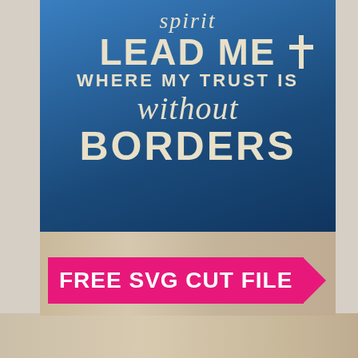[Figure (photo): A blue gradient decorative sign mounted on a wood-plank wall, with cream/ivory text reading 'spirit LEAD ME WHERE MY TRUST IS without BORDERS' and a cross symbol. Below the sign on the wooden background is a hot-pink arrow banner reading 'FREE SVG CUT FILE'.]